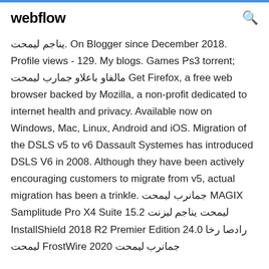webflow
تحميل مجاني. On Blogger since December 2018. Profile views - 129. My blogs. Games Ps3 torrent; تحميل برامج والعاب وافلام Get Firefox, a free web browser backed by Mozilla, a non-profit dedicated to internet health and privacy. Available now on Windows, Mac, Linux, Android and iOS. Migration of the DSLS v5 to v6 Dassault Systemes has introduced DSLS V6 in 2008. Although they have been actively encouraging customers to migrate from v5, actual migration has been a trinkle. تحميل برنامج MAGIX Samplitude Pro X4 Suite 15.2 تنزيل مجاني تحميل InstallShield 2018 R2 Premier Edition 24.0 اخر اصدار تحميل FrostWire 2020 تحميل برنامج